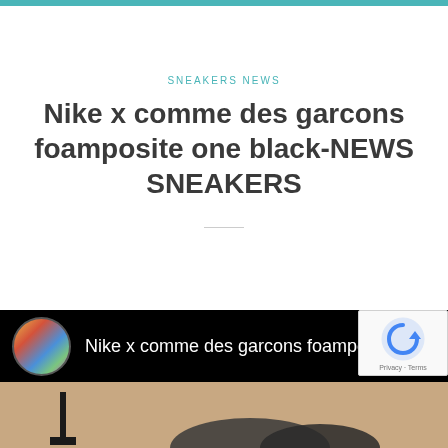SNEAKERS NEWS
Nike x comme des garcons foamposite one black-NEWS SNEAKERS
[Figure (screenshot): Embedded YouTube video thumbnail showing Nike x comme des garcons foampo... with a colorful channel icon on a black background, with a sneaker image partially visible below]
[Figure (logo): Google reCAPTCHA badge with spinning arrow logo and Privacy - Terms text]